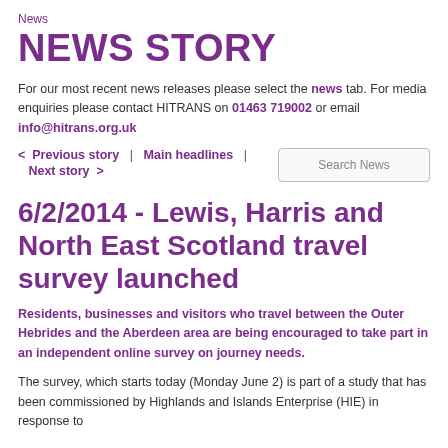News
NEWS STORY
For our most recent news releases please select the news tab. For media enquiries please contact HITRANS on 01463 719002 or email info@hitrans.org.uk
< Previous story | Main headlines | Next story >
Search News
6/2/2014 - Lewis, Harris and North East Scotland travel survey launched
Residents, businesses and visitors who travel between the Outer Hebrides and the Aberdeen area are being encouraged to take part in an independent online survey on journey needs.
The survey, which starts today (Monday June 2) is part of a study that has been commissioned by Highlands and Islands Enterprise (HIE) in response to